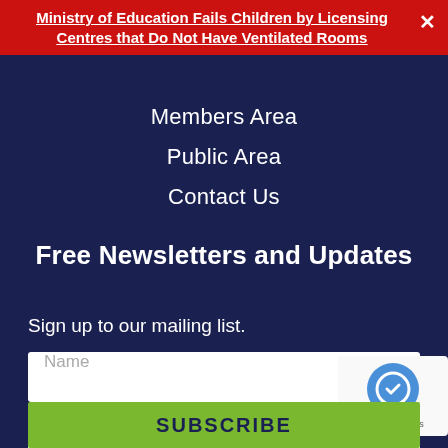Ministry of Education Fails Children by Licensing Centres that Do Not Have Ventilated Rooms
Members Area
Public Area
Contact Us
Free Newsletters and Updates
Sign up to our mailing list.
Name
Email
SUBSCRIBE